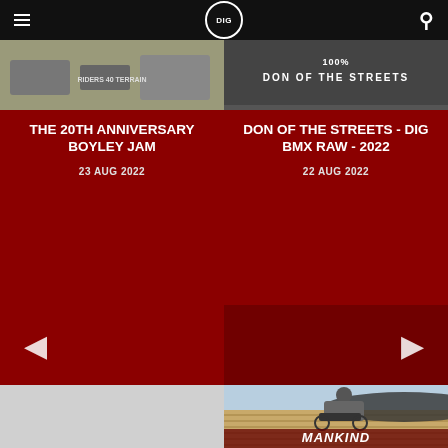DIG BMX website header with menu, DIG logo, and search icon
THE 20TH ANNIVERSARY BOYLEY JAM
23 AUG 2022
DON OF THE STREETS - DIG BMX RAW - 2022
22 AUG 2022
[Figure (photo): Navigation arrows row on dark red background with left and right arrow controls]
[Figure (photo): BMX rider performing a trick on building ledge/rail, with MANKIND text overlay at bottom]